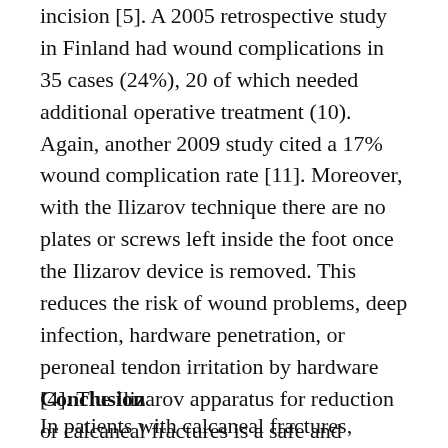incision [5]. A 2005 retrospective study in Finland had wound complications in 35 cases (24%), 20 of which needed additional operative treatment (10). Again, another 2009 study cited a 17% wound complication rate [11]. Moreover, with the Ilizarov technique there are no plates or screws left inside the foot once the Ilizarov device is removed. This reduces the risk of wound problems, deep infection, hardware penetration, or peroneal tendon irritation by hardware [4]. The Ilizarov apparatus for reduction or calcaneal fractures is a safe and effective alternative, while providing comparable results to the traditional ORIF approach [3].
Conclusion
In patients with calcaneal fractures, reduction